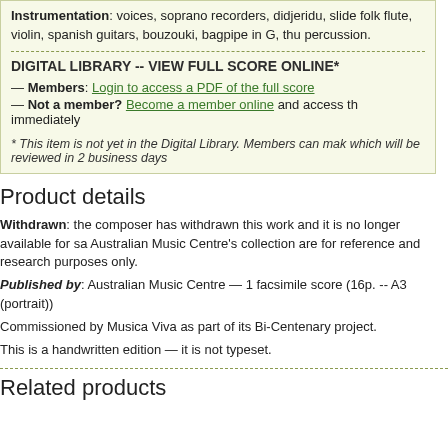Instrumentation: voices, soprano recorders, didjeridu, slide folk flute, violin, spanish guitars, bouzouki, bagpipe in G, thu percussion.
DIGITAL LIBRARY -- VIEW FULL SCORE ONLINE*
— Members: Login to access a PDF of the full score
— Not a member? Become a member online and access th immediately
* This item is not yet in the Digital Library. Members can mak which will be reviewed in 2 business days
Product details
Withdrawn: the composer has withdrawn this work and it is no longer available for sa Australian Music Centre's collection are for reference and research purposes only.
Published by: Australian Music Centre — 1 facsimile score (16p. -- A3 (portrait))
Commissioned by Musica Viva as part of its Bi-Centenary project.
This is a handwritten edition — it is not typeset.
Related products